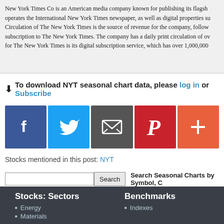New York Times Co is an American media company known for publishing its flagship... operates the International New York Times newspaper, as well as digital properties su... Circulation of The New York Times is the source of revenue for the company, follow... subscription to The New York Times. The company has a daily print circulation of ov... for The New York Times is its digital subscription service, which has over 1,000,000
⬇ To download NYT seasonal chart data, please log in or Subscribe
[Figure (infographic): Social sharing icons: Facebook, Twitter, Email, Pinterest, More (+)]
Stocks mentioned in this post: NYT
Search Seasonal Charts by Symbol, C
Symbols by Letter: A | B | C | D | E | F | G | H | I | J | K | L | M | N | O | P | Q | R | S | T | U
Stocks: Sectors
Energy
Materials
Benchmarks
Indexes